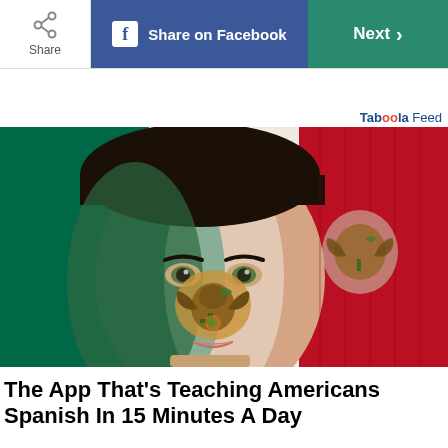Share | Share on Facebook | Next >
Taboola Feed
[Figure (photo): Woman with face painted as the Mexican flag, with the Mexican coat of arms on her face; background shows the Mexican flag with green, white, and red vertical stripes and the eagle emblem.]
The App That's Teaching Americans Spanish In 15 Minutes A Day